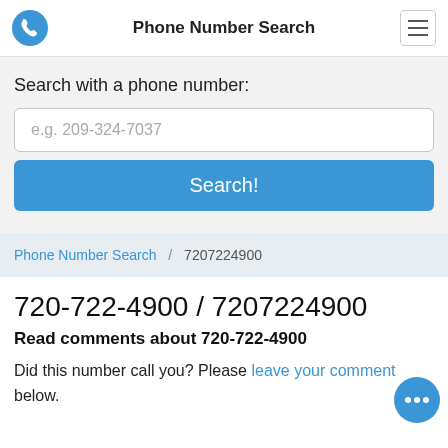Phone Number Search
Search with a phone number:
e.g. 209-324-7037
Search!
Phone Number Search / 7207224900
720-722-4900 / 7207224900
Read comments about 720-722-4900
Did this number call you? Please leave your comment below.